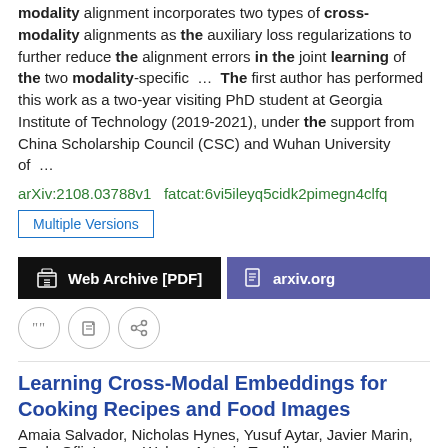modality alignment incorporates two types of cross-modality alignments as the auxiliary loss regularizations to further reduce the alignment errors in the joint learning of the two modality-specific ... The first author has performed this work as a two-year visiting PhD student at Georgia Institute of Technology (2019-2021), under the support from China Scholarship Council (CSC) and Wuhan University of ...
arXiv:2108.03788v1   fatcat:6vi5ileyq5cidk2pimegn4clfq
Multiple Versions
[Figure (other): Two buttons: Web Archive [PDF] (black) and arxiv.org (purple)]
[Figure (other): Three icon buttons: quote, edit, link]
Learning Cross-Modal Embeddings for Cooking Recipes and Food Images
Amaia Salvador, Nicholas Hynes, Yusuf Aytar, Javier Marin, Ferda Ofli, Ingmar Weber, Antonio Torralba
2017 2017 IEEE Conference on Computer Vision and Pattern Recognition (CVPR)
We postulate that these embeddings will provide a basis for further exploration of the Recipe1M dataset and food and cooking in...